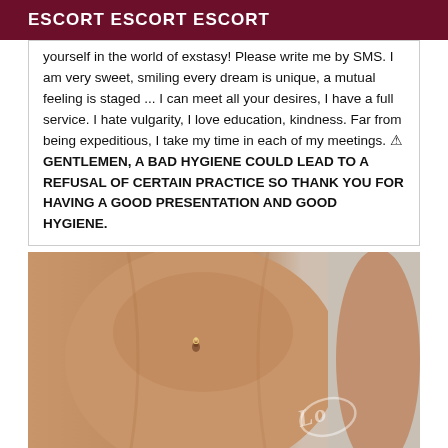ESCORT ESCORT ESCORT
yourself in the world of exstasy! Please write me by SMS. I am very sweet, smiling every dream is unique, a mutual feeling is staged ... I can meet all your desires, I have a full service. I hate vulgarity, I love education, kindness. Far from being expeditious, I take my time in each of my meetings. ⚠ GENTLEMEN, A BAD HYGIENE COULD LEAD TO A REFUSAL OF CERTAIN PRACTICE SO THANK YOU FOR HAVING A GOOD PRESENTATION AND GOOD HYGIENE.
[Figure (photo): Close-up photo of a person's midsection/torso with a belly button piercing, warm skin tones, with a watermark/logo overlay in the lower right corner.]